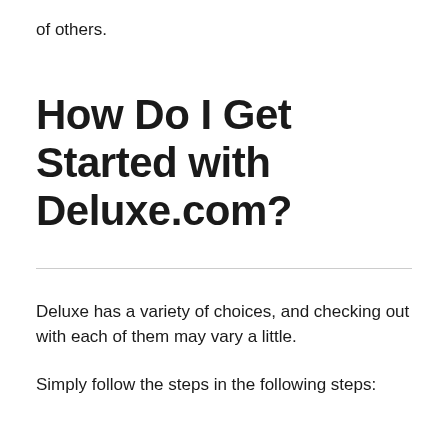of others.
How Do I Get Started with Deluxe.com?
Deluxe has a variety of choices, and checking out with each of them may vary a little.
Simply follow the steps in the following steps: